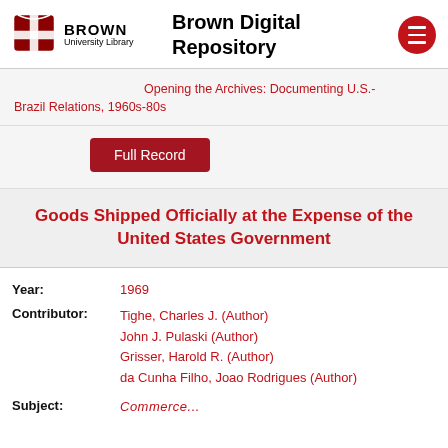Brown University Library — Brown Digital Repository
Opening the Archives: Documenting U.S.-Brazil Relations, 1960s-80s
Full Record
Goods Shipped Officially at the Expense of the United States Government
Year: 1969
Contributor: Tighe, Charles J. (Author)
John J. Pulaski (Author)
Grisser, Harold R. (Author)
da Cunha Filho, Joao Rodrigues (Author)
Subject: